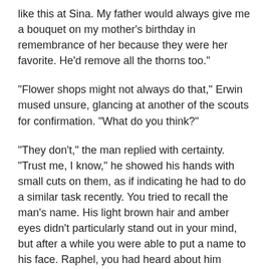like this at Sina. My father would always give me a bouquet on my mother's birthday in remembrance of her because they were her favorite. He'd remove all the thorns too."
"Flower shops might not always do that," Erwin mused unsure, glancing at another of the scouts for confirmation. "What do you think?"
"They don't," the man replied with certainty. "Trust me, I know," he showed his hands with small cuts on them, as if indicating he had to do a similar task recently. You tried to recall the man's name. His light brown hair and amber eyes didn't particularly stand out in your mind, but after a while you were able to put a name to his face. Raphel, you had heard about him before when the scouts were abuzz with the news of his engagement. His bride to be had gone to see him off at the gate and he had given her roses before leaving on the mission.